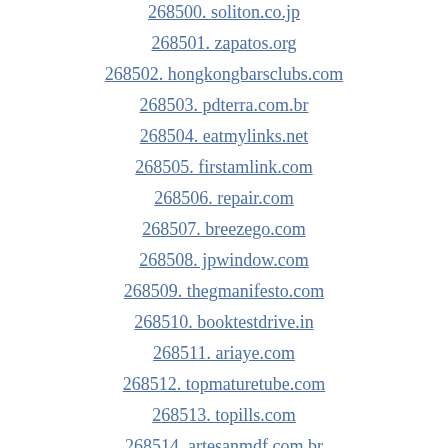268500. soliton.co.jp
268501. zapatos.org
268502. hongkongbarsclubs.com
268503. pdterra.com.br
268504. eatmylinks.net
268505. firstamlink.com
268506. repair.com
268507. breezego.com
268508. jpwindow.com
268509. thegmanifesto.com
268510. booktestdrive.in
268511. ariaye.com
268512. topmaturetube.com
268513. topills.com
268514. artesanmdf.com.br